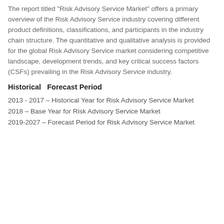The report titled "Risk Advisory Service Market" offers a primary overview of the Risk Advisory Service industry covering different product definitions, classifications, and participants in the industry chain structure. The quantitative and qualitative analysis is provided for the global Risk Advisory Service market considering competitive landscape, development trends, and key critical success factors (CSFs) prevailing in the Risk Advisory Service industry.
Historical  Forecast Period
2013 - 2017 – Historical Year for Risk Advisory Service Market
2018 – Base Year for Risk Advisory Service Market
2019-2027 – Forecast Period for Risk Advisory Service Market